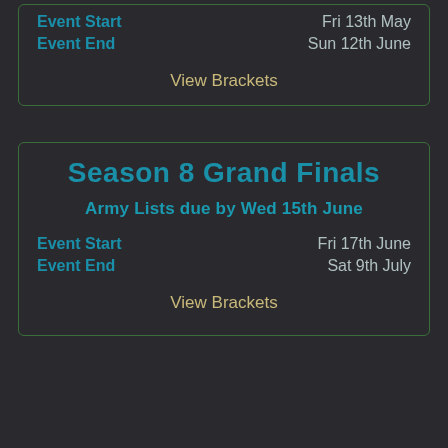| Event Start | Fri 13th May |
| Event End | Sun 12th June |
View Brackets
Season 8 Grand Finals
Army Lists due by Wed 15th June
| Event Start | Fri 17th June |
| Event End | Sat 9th July |
View Brackets